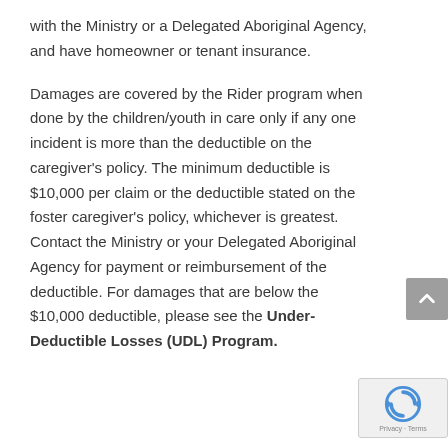with the Ministry or a Delegated Aboriginal Agency, and have homeowner or tenant insurance.
Damages are covered by the Rider program when done by the children/youth in care only if any one incident is more than the deductible on the caregiver's policy. The minimum deductible is $10,000 per claim or the deductible stated on the foster caregiver's policy, whichever is greatest. Contact the Ministry or your Delegated Aboriginal Agency for payment or reimbursement of the deductible. For damages that are below the $10,000 deductible, please see the Under-Deductible Losses (UDL) Program.